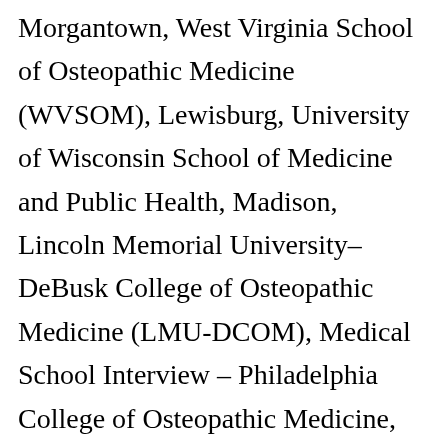Morgantown, West Virginia School of Osteopathic Medicine (WVSOM), Lewisburg, University of Wisconsin School of Medicine and Public Health, Madison, Lincoln Memorial University–DeBusk College of Osteopathic Medicine (LMU-DCOM), Medical School Interview – Philadelphia College of Osteopathic Medicine, Medical School Interview – Liberty University College of Osteopathic Medicine, Medical School Interview – Johns Hopkins University School of Medicine, Medical School Interview – Pacific Northwest University of Health Sciences College of